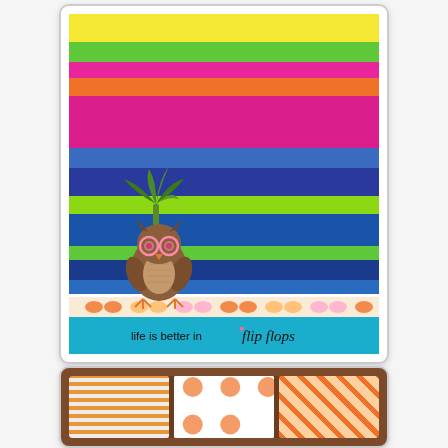[Figure (photo): A handmade greeting card with colorful horizontal stripes (yellow, green, pink, orange, magenta, blue, green, navy, green, blue shades), a die-cut owl wearing pink sunglasses with a palm tree, a flip-flop patterned border strip, and a teal lower section with the sentiment 'life is better in flip flops' in mixed print and script lettering with a small pink heart.]
Heather:
[Figure (photo): Partial view of another handmade card showing what appears to be orange and white patterned cards or envelopes on a wooden background.]